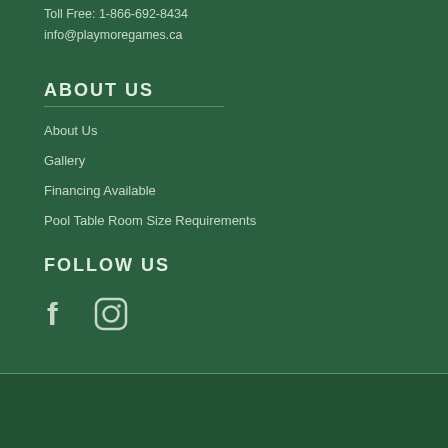Toll Free: 1-866-692-8434
info@playmoregames.ca
ABOUT US
About Us
Gallery
Financing Available
Pool Table Room Size Requirements
FOLLOW US
[Figure (illustration): Facebook and Instagram social media icons]
© 2022, Playmore Games. Powered by Shopify
[Figure (other): Payment method icons: American Express, Apple Pay, Diners Club, Discover, Google Pay, Mastercard, PayPal, Shop Pay, Visa]